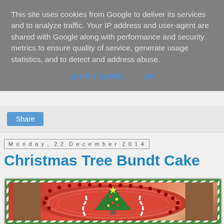This site uses cookies from Google to deliver its services and to analyze traffic. Your IP address and user-agent are shared with Google along with performance and security metrics to ensure quality of service, generate usage statistics, and to detect and address abuse.
LEARN MORE    OK
Share
Monday, 22 December 2014
Christmas Tree Bundt Cake
[Figure (photo): Photo of a Christmas Tree Bundt Cake on a red decorative plate with candy cane decorations, green and white candy-stripe border around the image frame.]